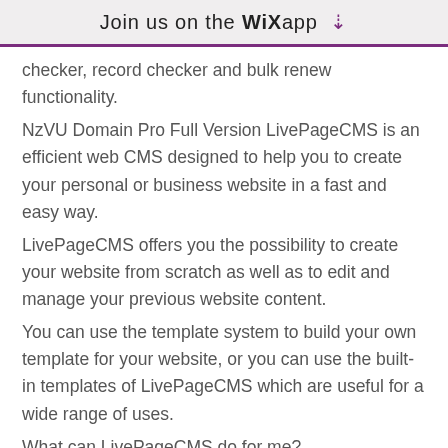Join us on the WiX app ↓
checker, record checker and bulk renew functionality.
NzVU Domain Pro Full Version LivePageCMS is an efficient web CMS designed to help you to create your personal or business website in a fast and easy way.
LivePageCMS offers you the possibility to create your website from scratch as well as to edit and manage your previous website content.
You can use the template system to build your own template for your website, or you can use the built-in templates of LivePageCMS which are useful for a wide range of uses.
What can LivePageCMS do for me?